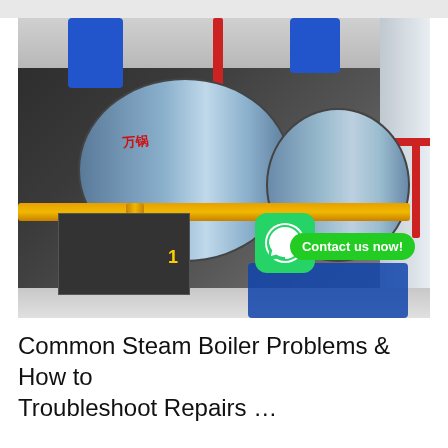[Figure (photo): Industrial steam boilers in a boiler room, showing large cylindrical boiler tanks with blue, red, and yellow/orange piping. A WhatsApp icon and 'Contact us now!' green button are overlaid on the bottom-right of the image. The number '1' is visible on one of the boiler units.]
Common Steam Boiler Problems & How to Troubleshoot Repairs …